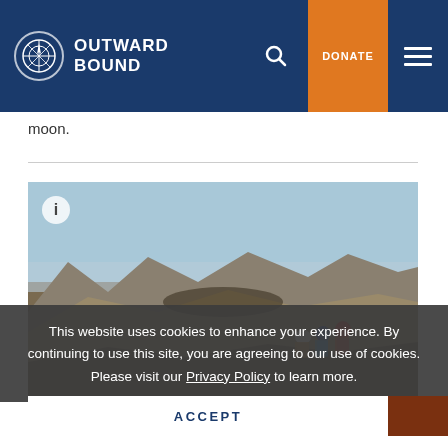OUTWARD BOUND
moon.
[Figure (photo): Desert landscape with hikers wearing colorful backpacks in rocky arid terrain with mountains in background]
This website uses cookies to enhance your experience. By continuing to use this site, you are agreeing to our use of cookies. Please visit our Privacy Policy to learn more.
ACCEPT
Desert Backpacking